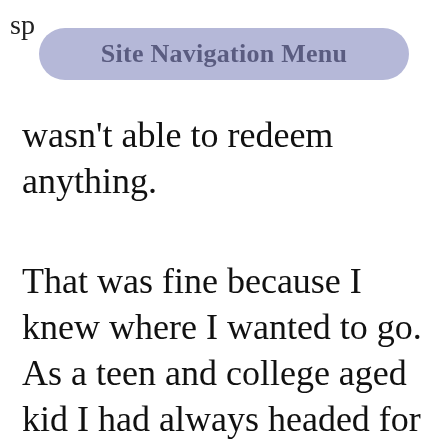sp
[Figure (screenshot): Site Navigation Menu button — a rounded rectangle pill button with muted blue-purple background and bold gray text reading 'Site Navigation Menu']
wasn't able to redeem anything.
That was fine because I knew where I wanted to go. As a teen and college aged kid I had always headed for the fun zone first. My friends and siblings are all ride junkies and we spent more than our fair share